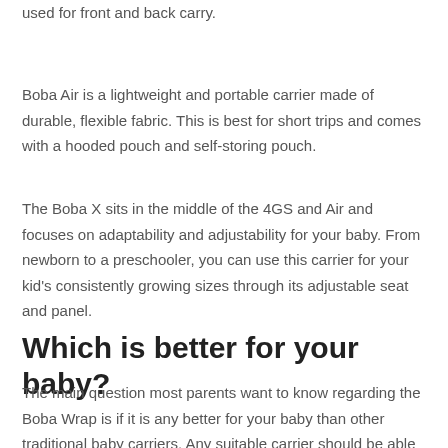used for front and back carry.
Boba Air is a lightweight and portable carrier made of durable, flexible fabric. This is best for short trips and comes with a hooded pouch and self-storing pouch.
The Boba X sits in the middle of the 4GS and Air and focuses on adaptability and adjustability for your baby. From newborn to a preschooler, you can use this carrier for your kid's consistently growing sizes through its adjustable seat and panel.
Which is better for your baby?
The main question most parents want to know regarding the Boba Wrap is if it is any better for your baby than other traditional baby carriers. Any suitable carrier should be able to support your baby while also reducing the parents' weight. The Boba Wrap, if done correctly, can keep the positioning of your baby secure while being respectful to the baby's anatomy.